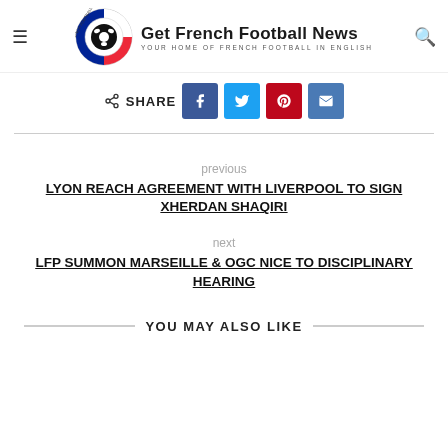Get French Football News — YOUR HOME OF FRENCH FOOTBALL IN ENGLISH
SHARE
previous
LYON REACH AGREEMENT WITH LIVERPOOL TO SIGN XHERDAN SHAQIRI
next
LFP SUMMON MARSEILLE & OGC NICE TO DISCIPLINARY HEARING
YOU MAY ALSO LIKE